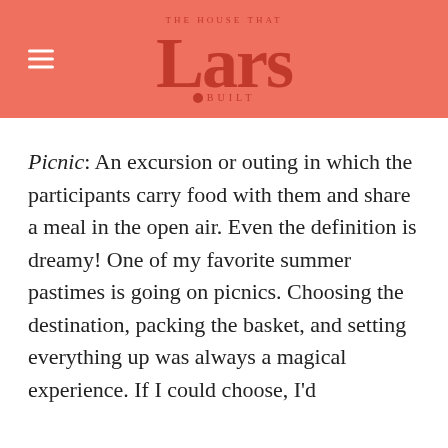THE HOUSE THAT Lars BUILT
Picnic: An excursion or outing in which the participants carry food with them and share a meal in the open air. Even the definition is dreamy! One of my favorite summer pastimes is going on picnics. Choosing the destination, packing the basket, and setting everything up was always a magical experience. If I could choose, I'd